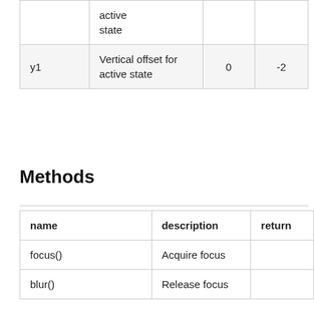|  |  |  |  |
| --- | --- | --- | --- |
|  | active
state |  |  |
| y1 | Vertical offset for active state | 0 | -2 |
Methods
| name | description | return |
| --- | --- | --- |
| focus() | Acquire focus |  |
| blur() | Release focus |  |